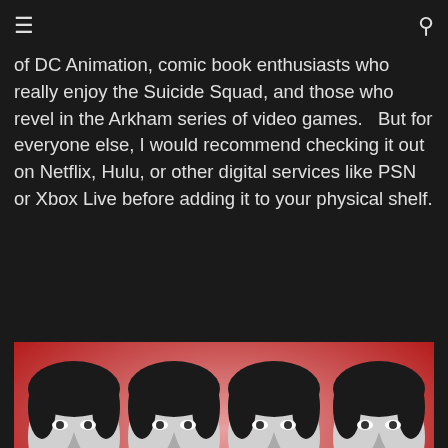≡  🔍
of DC Animation, comic book enthusiasts who really enjoy the Suicide Squad, and those who revel in the Arkham series of video games.   But for everyone else, I would recommend checking it out on Netflix, Hulu, or other digital services like PSN or Xbox Live before adding it to your physical shelf.
[Figure (photo): Four repeated black-and-white images of a man with dark hair making an intense grimacing expression, set against a red-to-white gradient background.]